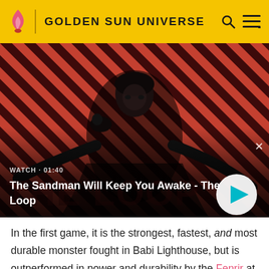GOLDEN SUN UNIVERSE
[Figure (screenshot): Video thumbnail showing a dark-cloaked figure with a raven on their shoulder against a red diagonal-striped background. Overlay text reads: WATCH · 01:40 / The Sandman Will Keep You Awake - The Loop. A white circular play button is in the lower right. A small X appears top right.]
In the first game, it is the strongest, fastest, and most durable monster fought in Babi Lighthouse, but is outperformed in power and durability by the Fenrir at the end in Venus Lighthouse (but still retains its title as the fastest random monster of the original Golden Sun). In the